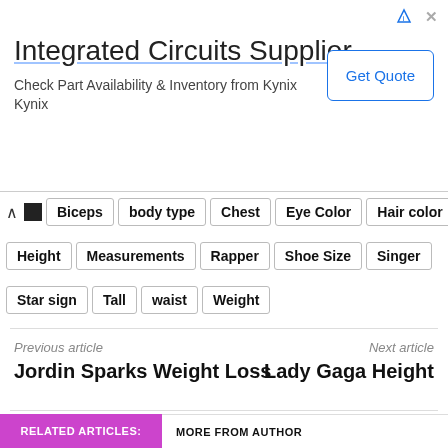[Figure (infographic): Advertisement banner for 'Integrated Circuits Supplier' with title, description 'Check Part Availability & Inventory from Kynix Kynix', and a 'Get Quote' button.]
Biceps
body type
Chest
Eye Color
Hair color
Height
Measurements
Rapper
Shoe Size
Singer
Star sign
Tall
waist
Weight
Previous article
Jordin Sparks Weight Loss
Next article
Lady Gaga Height
RELATED ARTICLES:
MORE FROM AUTHOR